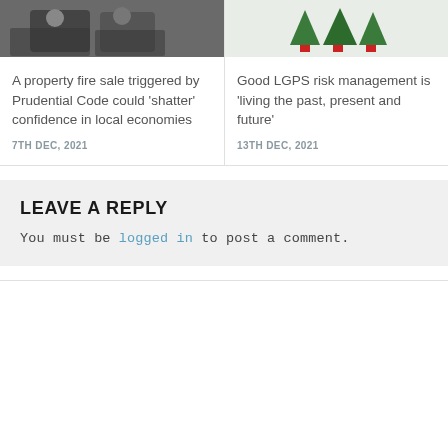[Figure (photo): Two people seated in chairs, appears to be an interview or panel setting, dark tones]
A property fire sale triggered by Prudential Code could 'shatter' confidence in local economies
7TH DEC, 2021
[Figure (photo): Small Christmas trees with red bases on a light background]
Good LGPS risk management is 'living the past, present and future'
13TH DEC, 2021
LEAVE A REPLY
You must be logged in to post a comment.